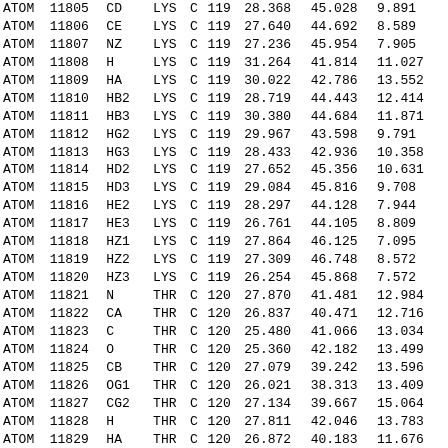| Record | Serial | Name | ResName | Chain | Seq | X | Y | Z | ... |
| --- | --- | --- | --- | --- | --- | --- | --- | --- | --- |
| ATOM | 11805 | CD | LYS | C | 119 | 28.368 | 45.028 | 9.891 |  |
| ATOM | 11806 | CE | LYS | C | 119 | 27.640 | 44.692 | 8.589 |  |
| ATOM | 11807 | NZ | LYS | C | 119 | 27.236 | 45.954 | 7.905 |  |
| ATOM | 11808 | H | LYS | C | 119 | 31.264 | 41.814 | 11.027 |  |
| ATOM | 11809 | HA | LYS | C | 119 | 30.022 | 42.786 | 13.552 |  |
| ATOM | 11810 | HB2 | LYS | C | 119 | 28.719 | 44.443 | 12.414 |  |
| ATOM | 11811 | HB3 | LYS | C | 119 | 30.380 | 44.684 | 11.871 |  |
| ATOM | 11812 | HG2 | LYS | C | 119 | 29.967 | 43.598 | 9.791 |  |
| ATOM | 11813 | HG3 | LYS | C | 119 | 28.433 | 42.936 | 10.358 |  |
| ATOM | 11814 | HD2 | LYS | C | 119 | 27.652 | 45.356 | 10.631 |  |
| ATOM | 11815 | HD3 | LYS | C | 119 | 29.084 | 45.816 | 9.708 |  |
| ATOM | 11816 | HE2 | LYS | C | 119 | 28.297 | 44.128 | 7.944 |  |
| ATOM | 11817 | HE3 | LYS | C | 119 | 26.761 | 44.105 | 8.809 |  |
| ATOM | 11818 | HZ1 | LYS | C | 119 | 27.864 | 46.125 | 7.095 |  |
| ATOM | 11819 | HZ2 | LYS | C | 119 | 27.309 | 46.748 | 8.572 |  |
| ATOM | 11820 | HZ3 | LYS | C | 119 | 26.254 | 45.868 | 7.572 |  |
| ATOM | 11821 | N | THR | C | 120 | 27.870 | 41.481 | 12.984 |  |
| ATOM | 11822 | CA | THR | C | 120 | 26.837 | 40.471 | 12.716 |  |
| ATOM | 11823 | C | THR | C | 120 | 25.480 | 41.066 | 13.034 |  |
| ATOM | 11824 | O | THR | C | 120 | 25.360 | 42.182 | 13.499 |  |
| ATOM | 11825 | CB | THR | C | 120 | 27.079 | 39.242 | 13.596 |  |
| ATOM | 11826 | OG1 | THR | C | 120 | 26.021 | 38.313 | 13.409 |  |
| ATOM | 11827 | CG2 | THR | C | 120 | 27.134 | 39.667 | 15.064 |  |
| ATOM | 11828 | H | THR | C | 120 | 27.811 | 42.046 | 13.783 |  |
| ATOM | 11829 | HA | THR | C | 120 | 26.872 | 40.183 | 11.676 |  |
| ATOM | 11830 | HB | THR | C | 120 | 28.016 | 38.782 | 13.323 |  |
| ATOM | 11831 | HG1 | THR | C | 120 | 25.978 | 37.751 | 14.186 |  |
| ATOM | 11832 | HG21 | THR | C | 120 | 28.028 | 40.247 | 15.238 |  |
| ATOM | 11833 | HG22 | THR | C | 120 | 27.148 | 38.788 | 15.692 |  |
| ATOM | 11834 | HG23 | THR | C | 120 | 26.266 | 40.264 | 15.299 |  |
| ATOM | 11835 | ... | ILE | C | 121 | ... | ... | ... |  |